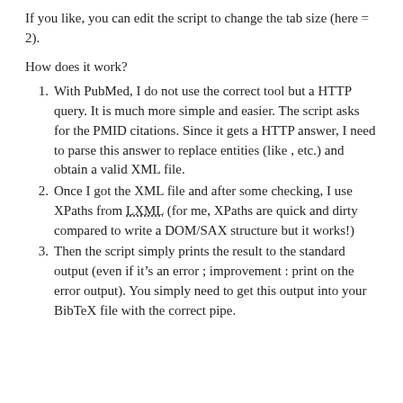If you like, you can edit the script to change the tab size (here = 2).
How does it work?
1. With PubMed, I do not use the correct tool but a HTTP query. It is much more simple and easier. The script asks for the PMID citations. Since it gets a HTTP answer, I need to parse this answer to replace entities (like , etc.) and obtain a valid XML file.
2. Once I got the XML file and after some checking, I use XPaths from LXML (for me, XPaths are quick and dirty compared to write a DOM/SAX structure but it works!)
3. Then the script simply prints the result to the standard output (even if it’s an error; improvement : print on the error output). You simply need to get this output into your BibTeX file with the correct pipe.